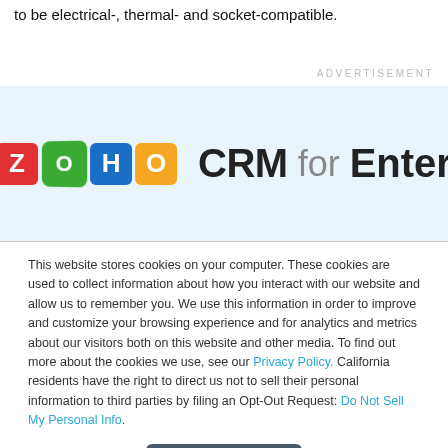to be electrical-, thermal- and socket-compatible.
ADVERTISEMENT
[Figure (logo): ZOHO CRM for Enterprise advertisement banner on light blue background]
This website stores cookies on your computer. These cookies are used to collect information about how you interact with our website and allow us to remember you. We use this information in order to improve and customize your browsing experience and for analytics and metrics about our visitors both on this website and other media. To find out more about the cookies we use, see our Privacy Policy. California residents have the right to direct us not to sell their personal information to third parties by filing an Opt-Out Request: Do Not Sell My Personal Info.
Accept